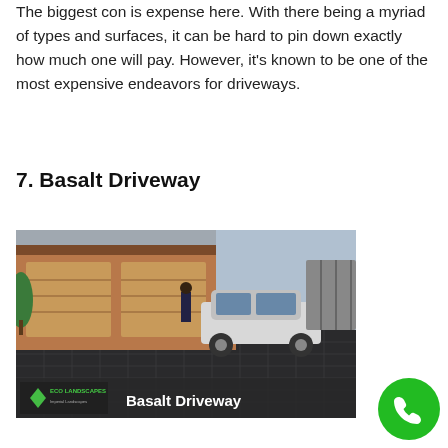The biggest con is expense here. With there being a myriad of types and surfaces, it can be hard to pin down exactly how much one will pay. However, it's known to be one of the most expensive endeavors for driveways.
7. Basalt Driveway
[Figure (photo): Photo of a dark basalt paver driveway with a white SUV parked in front of a house with wooden garage doors. An 'Eco Landscapes' logo is in the bottom left and 'Basalt Driveway' text overlay is in the bottom right.]